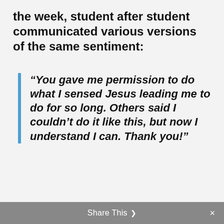the week, student after student communicated various versions of the same sentiment:
“You gave me permission to do what I sensed Jesus leading me to do for so long. Others said I couldn’t do it like this, but now I understand I can. Thank you!”
Share This ❯ ×